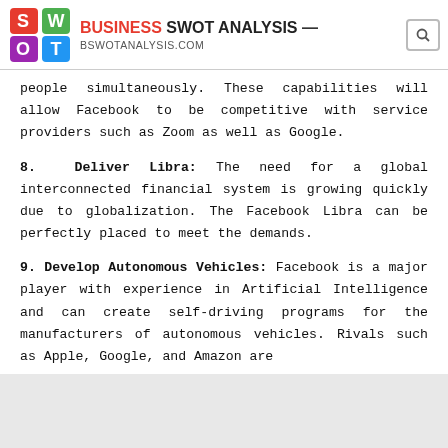BUSINESS SWOT ANALYSIS — bswotanalysis.com
people simultaneously. These capabilities will allow Facebook to be competitive with service providers such as Zoom as well as Google.
8. Deliver Libra: The need for a global interconnected financial system is growing quickly due to globalization. The Facebook Libra can be perfectly placed to meet the demands.
9. Develop Autonomous Vehicles: Facebook is a major player with experience in Artificial Intelligence and can create self-driving programs for the manufacturers of autonomous vehicles. Rivals such as Apple, Google, and Amazon are